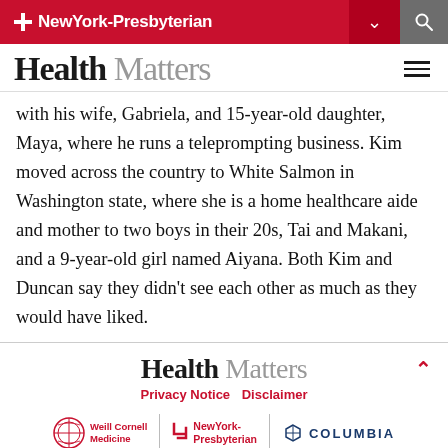NewYork-Presbyterian
Health Matters
with his wife, Gabriela, and 15-year-old daughter, Maya, where he runs a teleprompting business. Kim moved across the country to White Salmon in Washington state, where she is a home healthcare aide and mother to two boys in their 20s, Tai and Makani, and a 9-year-old girl named Aiyana. Both Kim and Duncan say they didn't see each other as much as they would have liked.
Health Matters | Privacy Notice | Disclaimer | Weill Cornell Medicine | NewYork-Presbyterian | Columbia | © 2022 NewYork-Presbyterian